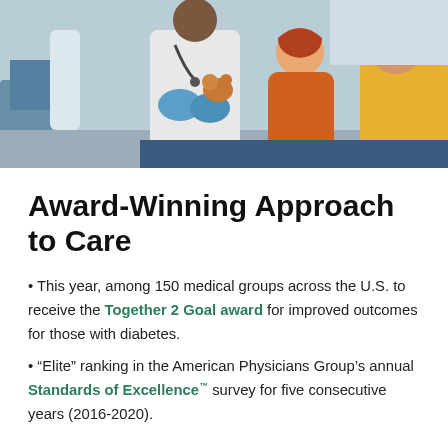[Figure (photo): A doctor in a white coat wearing blue gloves examining a child holding a stuffed animal, with a parent in an orange sweater sitting nearby in a medical setting.]
Award-Winning Approach to Care
This year, among 150 medical groups across the U.S. to receive the Together 2 Goal award for improved outcomes for those with diabetes.
“Elite” ranking in the American Physicians Group’s annual Standards of Excellence™ survey for five consecutive years (2016-2020).